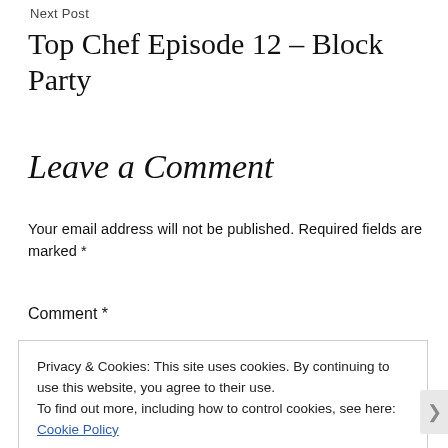Next Post
Top Chef Episode 12 – Block Party
Leave a Comment
Your email address will not be published. Required fields are marked *
Comment *
Privacy & Cookies: This site uses cookies. By continuing to use this website, you agree to their use.
To find out more, including how to control cookies, see here: Cookie Policy
Close and accept